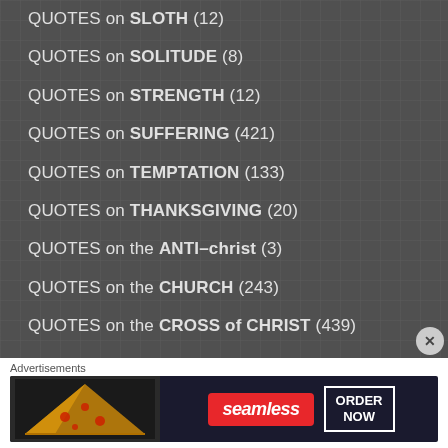QUOTES on SLOTH (12)
QUOTES on SOLITUDE (8)
QUOTES on STRENGTH (12)
QUOTES on SUFFERING (421)
QUOTES on TEMPTATION (133)
QUOTES on THANKSGIVING (20)
QUOTES on the ANTI-christ (3)
QUOTES on the CHURCH (243)
QUOTES on the CROSS of CHRIST (439)
QUOTES on the DEVIL/EVIL (168)
QUOTES on the FAMILY (25)
Advertisements
[Figure (photo): Seamless food delivery advertisement banner showing pizza slices and ORDER NOW button]